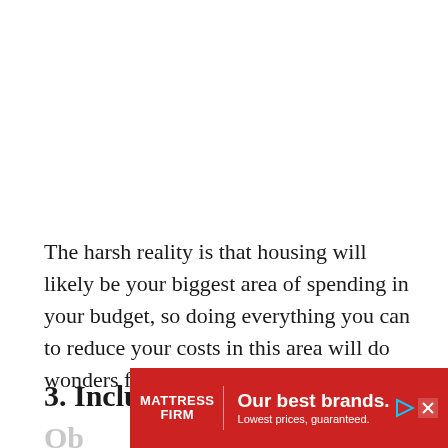The harsh reality is that housing will likely be your biggest area of spending in your budget, so doing everything you can to reduce your costs in this area will do wonders for you budget.
3. Include All of Your Debt
Ob...
[Figure (other): Mattress Firm advertisement banner: red background with Mattress Firm logo on left, text 'Our best brands. Lowest prices, guaranteed.' in white, with ad indicator icons on right.]